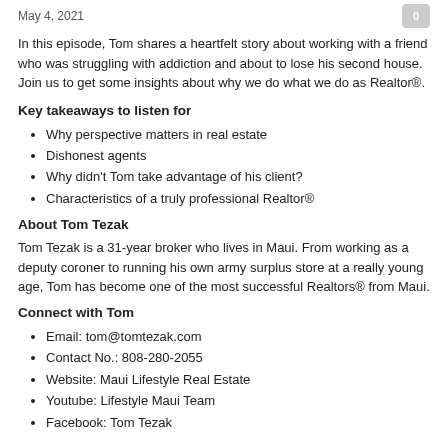May 4, 2021
In this episode, Tom shares a heartfelt story about working with a friend who was struggling with addiction and about to lose his second house. Join us to get some insights about why we do what we do as Realtor®.
Key takeaways to listen for
Why perspective matters in real estate
Dishonest agents
Why didn't Tom take advantage of his client?
Characteristics of a truly professional Realtor®
About Tom Tezak
Tom Tezak is a 31-year broker who lives in Maui. From working as a deputy coroner to running his own army surplus store at a really young age, Tom has become one of the most successful Realtors® from Maui.
Connect with Tom
Email: tom@tomtezak.com
Contact No.: 808-280-2055
Website: Maui Lifestyle Real Estate
Youtube: Lifestyle Maui Team
Facebook: Tom Tezak